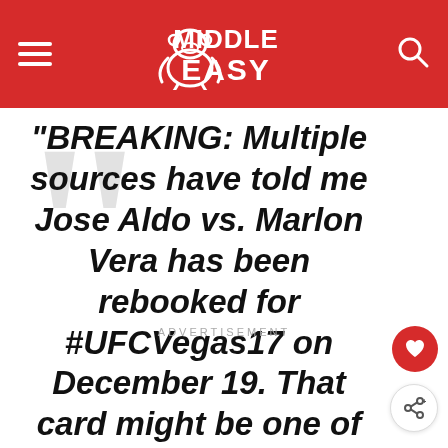Middle Easy
“BREAKING: Multiple sources have told me Jose Aldo vs. Marlon Vera has been rebooked for #UFCVegas17 on December 19. That card might be one of the best fight nights ever.”
ADVERTISEMENT